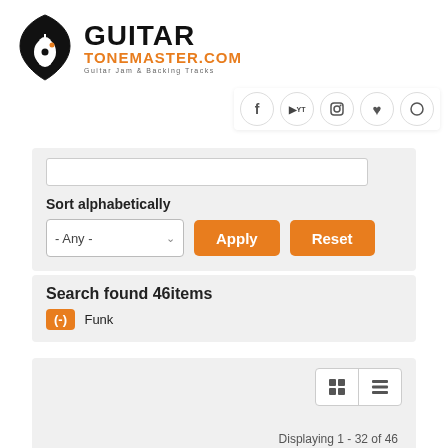[Figure (logo): GuitarTonemaster.com logo with guitar pick shield icon, bold GUITAR text, orange TONEMASTER.COM text, and tagline 'Guitar Jam & Backing Tracks']
[Figure (infographic): Social media icons row: Facebook, YouTube, Instagram, heart/Spotify, and circle icon]
Sort alphabetically
- Any -
Apply
Reset
Search found 46items
(-) Funk
Displaying 1 - 32 of 46